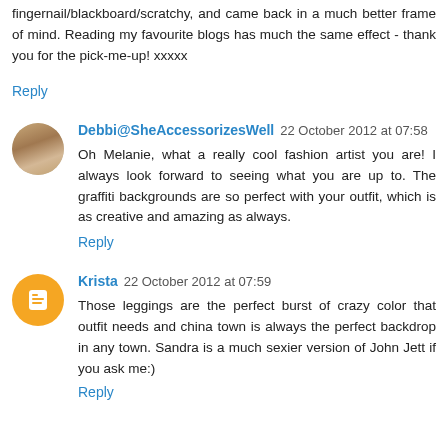fingernail/blackboard/scratchy, and came back in a much better frame of mind. Reading my favourite blogs has much the same effect - thank you for the pick-me-up! xxxxx
Reply
Debbi@SheAccessorizesWell 22 October 2012 at 07:58
Oh Melanie, what a really cool fashion artist you are! I always look forward to seeing what you are up to. The graffiti backgrounds are so perfect with your outfit, which is as creative and amazing as always.
Reply
Krista 22 October 2012 at 07:59
Those leggings are the perfect burst of crazy color that outfit needs and china town is always the perfect backdrop in any town. Sandra is a much sexier version of John Jett if you ask me:)
Reply